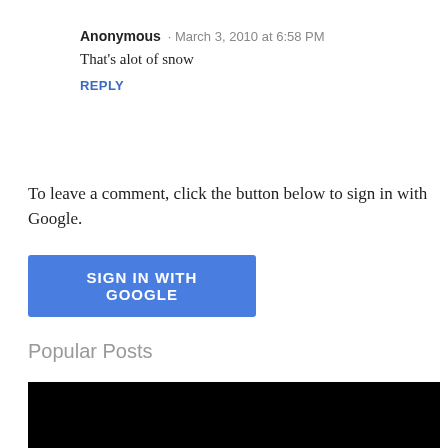Anonymous · March 3, 2010 at 6:58 PM
That's alot of snow
REPLY
To leave a comment, click the button below to sign in with Google.
[Figure (other): Blue button with white text reading SIGN IN WITH GOOGLE]
Popular Posts
[Figure (photo): Black image placeholder for a popular post thumbnail]